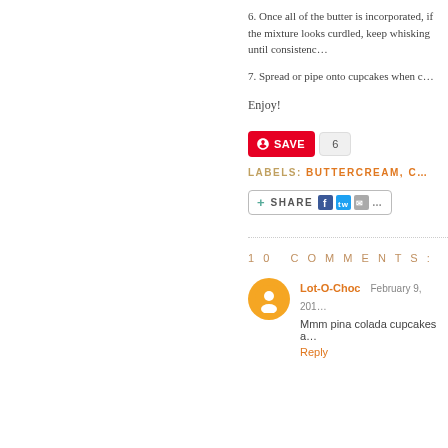6. Once all of the butter is incorporated, if the mixture looks curdled, keep whisking until consistency is smooth.
7. Spread or pipe onto cupcakes when cool.
Enjoy!
[Figure (other): Pinterest Save button with count of 6]
LABELS: BUTTERCREAM, C...
[Figure (other): Share button with Facebook, Twitter, and email icons]
10 COMMENTS:
Lot-O-Choc  February 9, 201...
Mmm pina colada cupcakes a...
Reply